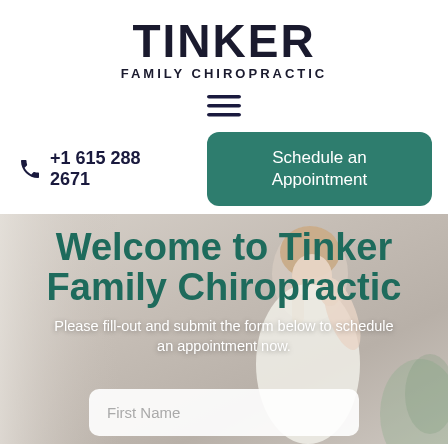TINKER FAMILY CHIROPRACTIC
[Figure (other): Hamburger menu icon with three horizontal lines]
+1 615 288 2671
Schedule an Appointment
[Figure (photo): Hero background photo of a woman in white coat, spa/clinic setting, slightly blurred]
Welcome to Tinker Family Chiropractic
Please fill-out and submit the form below to schedule an appointment now.
First Name